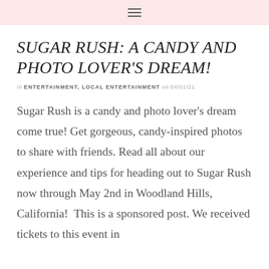☰
SUGAR RUSH: A CANDY AND PHOTO LOVER'S DREAM!
in ENTERTAINMENT, LOCAL ENTERTAINMENT on 04/01/21
Sugar Rush is a candy and photo lover's dream come true! Get gorgeous, candy-inspired photos to share with friends. Read all about our experience and tips for heading out to Sugar Rush now through May 2nd in Woodland Hills, California!  This is a sponsored post. We received tickets to this event in